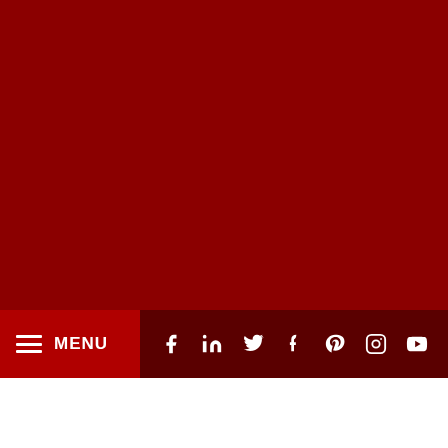[Figure (screenshot): Dark red background filling the upper portion of the page]
[Figure (screenshot): Navigation bar with dark red background containing a MENU button with hamburger icon on the left and social media icons (Facebook, LinkedIn, Twitter, Tumblr, Pinterest, Instagram, YouTube) on the right]